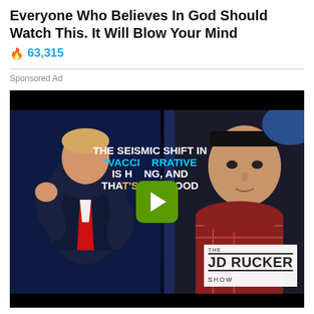Everyone Who Believes In God Should Watch This. It Will Blow Your Mind
🔥 63,315
Sponsored Ad
[Figure (screenshot): Video thumbnail showing a political figure on the left and an Asian man on the right, with text overlay reading 'THE SEISMIC SHIFT IN "VACCINE NARRATIVE" IS HAPPENING, AND THAT'S NOT GOOD' and a green play button in the center. Bottom right shows JD RUCKER SHOW logo.]